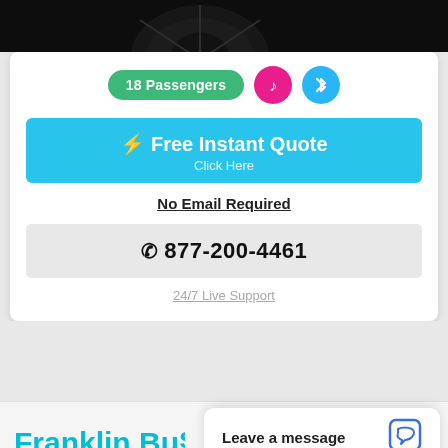[Figure (photo): Top strip showing partial view of a dark vehicle wheel/car]
18 Passengers
[Figure (illustration): Pink circle badge with music note icon]
[Figure (illustration): Blue circle badge with Bluetooth icon]
⚡ Free Instant Quote
Click Here
No Email Required
877-200-4461
24/7 Live Support
Franklin Bu…
Leave a message